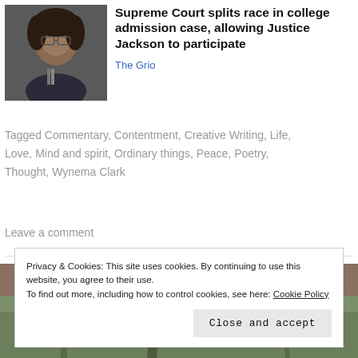[Figure (photo): Photo of Justice Ketanji Brown Jackson smiling, wearing glasses, in front of microphones]
Supreme Court splits race in college admission case, allowing Justice Jackson to participate
The Grio
Tagged Commentary, Contentment, Creative Writing, Life, Love, Mind and spirit, Ordinary things, Peace, Poetry, Thought, Wynema Clark
Leave a comment
[Figure (photo): Partial bottom image, appears to be a nature/outdoor scene]
Privacy & Cookies: This site uses cookies. By continuing to use this website, you agree to their use.
To find out more, including how to control cookies, see here: Cookie Policy
Close and accept